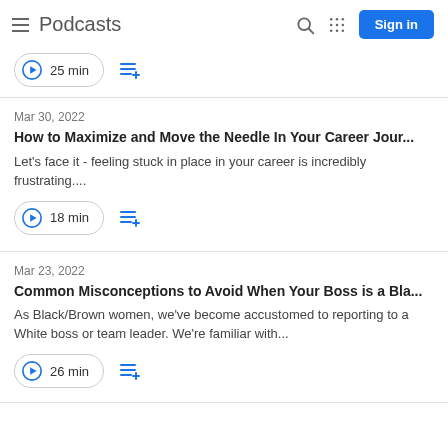Podcasts
25 min
Mar 30, 2022
How to Maximize and Move the Needle In Your Career Jour...
Let's face it - feeling stuck in place in your career is incredibly frustrating....
18 min
Mar 23, 2022
Common Misconceptions to Avoid When Your Boss is a Bla...
As Black/Brown women, we've become accustomed to reporting to a White boss or team leader. We're familiar with...
26 min